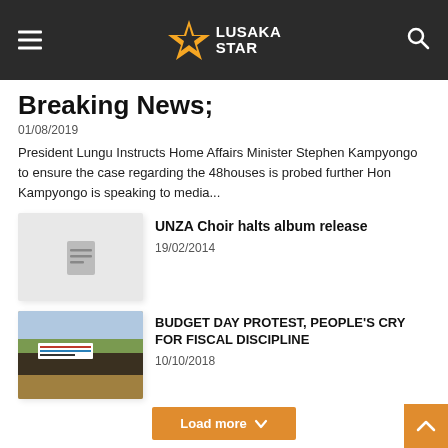Lusaka Star
Breaking News;
01/08/2019
President Lungu Instructs Home Affairs Minister Stephen Kampyongo to ensure the case regarding the 48houses is probed further Hon Kampyongo is speaking to media...
[Figure (photo): Placeholder thumbnail image with document icon]
UNZA Choir halts album release
19/02/2014
[Figure (photo): Protest photo showing people holding banners on a road with trees in background]
BUDGET DAY PROTEST, PEOPLE'S CRY FOR FISCAL DISCIPLINE
10/10/2018